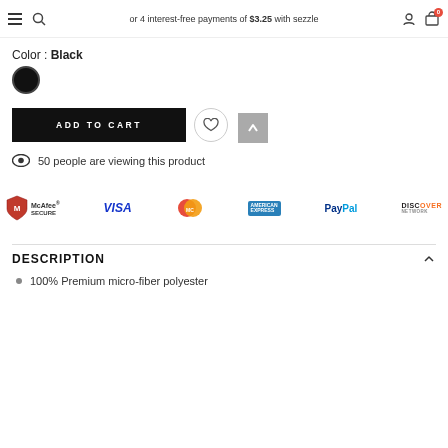or 4 interest-free payments of $3.25 with sezzle
Color : Black
[Figure (illustration): Black circular color swatch]
[Figure (other): ADD TO CART button (black rectangle with white text)]
[Figure (other): Wishlist heart icon in circle and share icon]
[Figure (other): Back to top arrow button (grey)]
50 people are viewing this product
[Figure (other): Payment method logos: McAfee SECURE, VISA, MasterCard, American Express, PayPal, Discover Network]
DESCRIPTION
100% Premium micro-fiber polyester